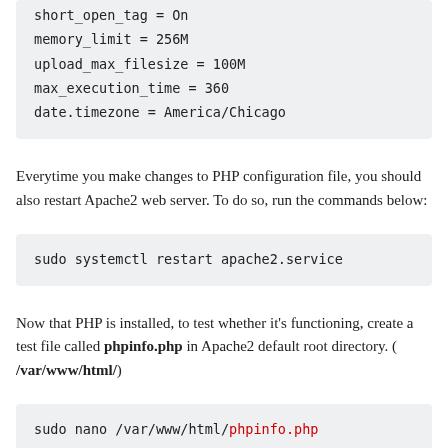short_open_tag = On
memory_limit = 256M
upload_max_filesize = 100M
max_execution_time = 360
date.timezone = America/Chicago
Everytime you make changes to PHP configuration file, you should also restart Apache2 web server. To do so, run the commands below:
sudo systemctl restart apache2.service
Now that PHP is installed, to test whether it's functioning, create a test file called phpinfo.php in Apache2 default root directory. ( /var/www/html/ )
sudo nano /var/www/html/phpinfo.php